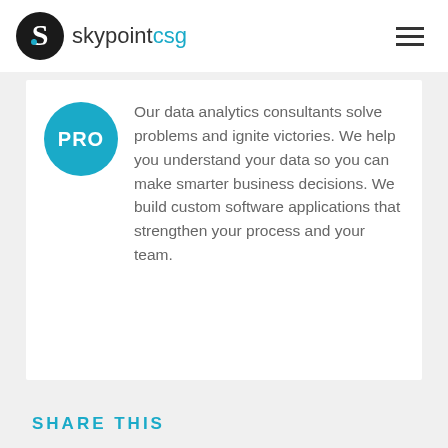skypointcsg
[Figure (logo): skypointcsg logo with black circle S icon and teal 'csg' text]
Our data analytics consultants solve problems and ignite victories. We help you understand your data so you can make smarter business decisions. We build custom software applications that strengthen your process and your team.
SHARE THIS